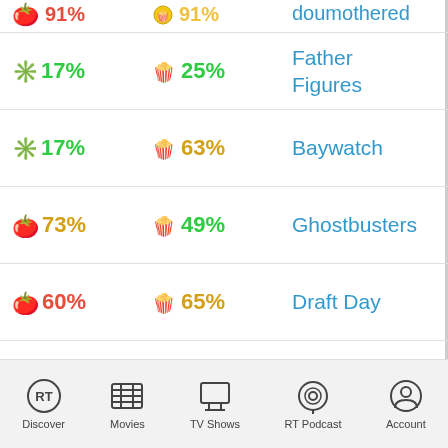17% | 25% | Father Figures
17% | 63% | Baywatch
73% | 49% | Ghostbusters
60% | 65% | Draft Day
60% | 60% | Hitchcock
48% | 51% | No Strings Attached
Discover | Movies | TV Shows | RT Podcast | Account